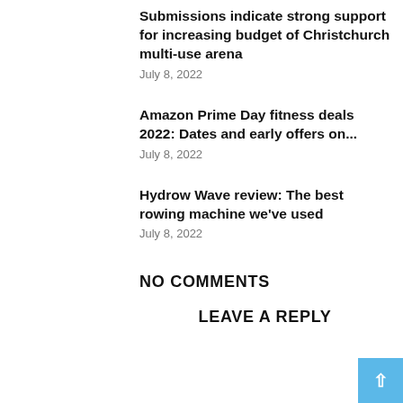Submissions indicate strong support for increasing budget of Christchurch multi-use arena
July 8, 2022
Amazon Prime Day fitness deals 2022: Dates and early offers on...
July 8, 2022
Hydrow Wave review: The best rowing machine we've used
July 8, 2022
NO COMMENTS
LEAVE A REPLY